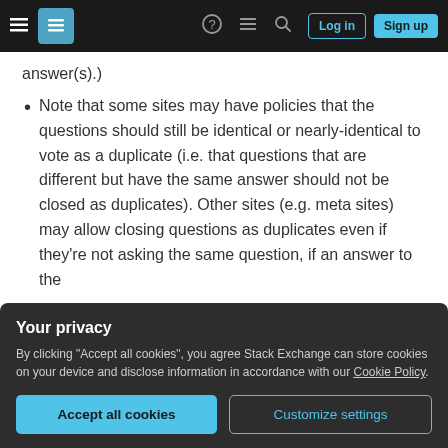Stack Exchange navigation bar with hamburger menu, logo, help, chat, search icons, and Log in / Sign up buttons
answer(s).)
Note that some sites may have policies that the questions should still be identical or nearly-identical to vote as a duplicate (i.e. that questions that are different but have the same answer should not be closed as duplicates). Other sites (e.g. meta sites) may allow closing questions as duplicates even if they're not asking the same question, if an answer to the proposed duplicate addresses the
quality than the duplicate target, leave open,
Your privacy
By clicking "Accept all cookies", you agree Stack Exchange can store cookies on your device and disclose information in accordance with our Cookie Policy.
Accept all cookies
Customize settings